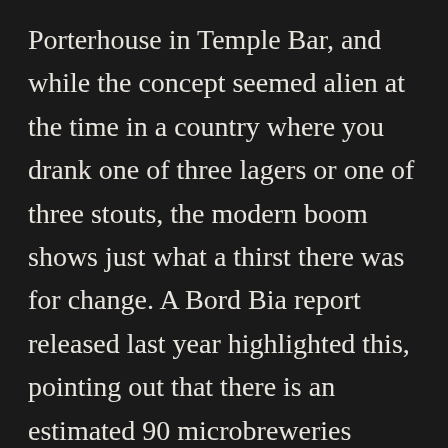Porterhouse in Temple Bar, and while the concept seemed alien at the time in a country where you drank one of three lagers or one of three stouts, the modern boom shows just what a thirst there was for change. A Bord Bia report released last year highlighted this, pointing out that there is an estimated 90 microbreweries operating in the Republic of Ireland, of which 62 are production microbreweries and at least 28 are contracting companies. There was a 29% increase in the number of production microbreweries from 48 in 2015 to 62 in 2016. The number of microbreweries has more than quadrupled since 2012.